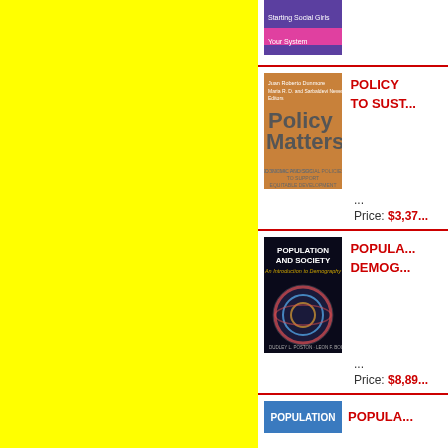[Figure (photo): Book cover - purple/pink book partially visible at top]
[Figure (photo): Book cover - Policy Matters: Economic and Social Policies to Support Equitable Development (orange cover)]
POLICY MATTERS TO SUST...
...
Price: $3,37...
[Figure (photo): Book cover - Population and Society: An Introduction to Demography (dark cover with globe)]
POPULA... DEMOG...
...
Price: $8,89...
[Figure (photo): Book cover - POPULATION (partially visible at bottom, blue cover)]
POPULA...